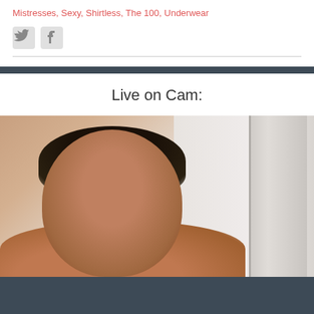Mistresses, Sexy, Shirtless, The 100, Underwear
[Figure (other): Twitter and Facebook social share icons]
Live on Cam:
[Figure (photo): Shirtless man with dark curly hair and beard taking a selfie, looking upward, in a room with white walls and a door frame visible in the background]